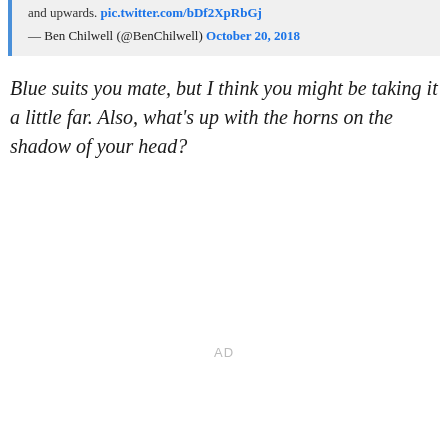and upwards. pic.twitter.com/bDf2XpRbGj
— Ben Chilwell (@BenChilwell) October 20, 2018
Blue suits you mate, but I think you might be taking it a little far. Also, what's up with the horns on the shadow of your head?
AD